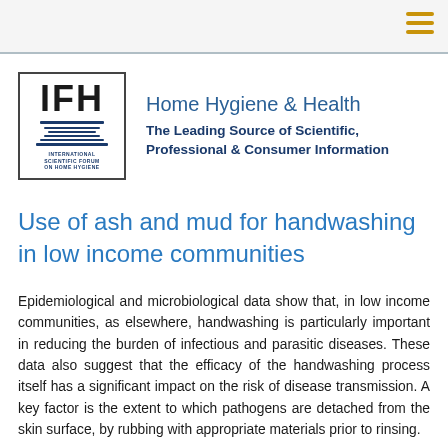[Figure (logo): IFH - International Scientific Forum on Home Hygiene logo in a bordered box]
Home Hygiene & Health
The Leading Source of Scientific, Professional & Consumer Information
Use of ash and mud for handwashing in low income communities
Epidemiological and microbiological data show that, in low income communities, as elsewhere, handwashing is particularly important in reducing the burden of infectious and parasitic diseases. These data also suggest that the efficacy of the handwashing process itself has a significant impact on the risk of disease transmission. A key factor is the extent to which pathogens are detached from the skin surface, by rubbing with appropriate materials prior to rinsing.